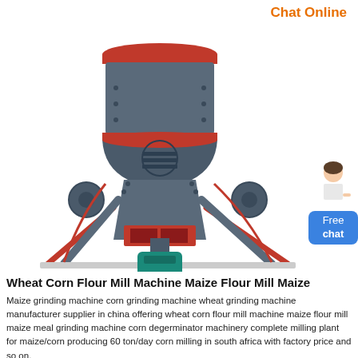Chat Online
[Figure (photo): A large industrial wheat corn flour mill / maize flour mill grinding machine with grey body, red accent rings and base, mounted on a tripod-like red support frame with a teal-green motor/gearbox at the bottom.]
Wheat Corn Flour Mill Machine Maize Flour Mill Maize
Maize grinding machine corn grinding machine wheat grinding machine manufacturer supplier in china offering wheat corn flour mill machine maize flour mill maize meal grinding machine corn degerminator machinery complete milling plant for maize/corn producing 60 ton/day corn milling in south africa with factory price and so on.